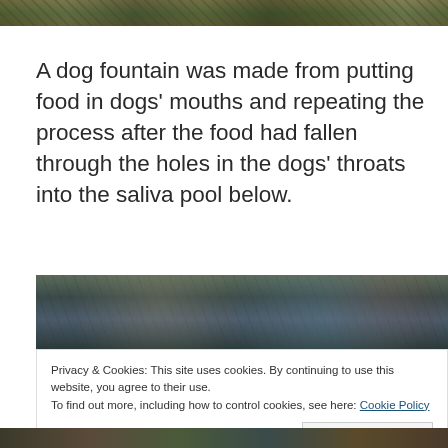[Figure (photo): Partial view of a painting or mural, top strip showing colorful textured artwork with greens, browns and purples]
A dog fountain was made from putting food in dogs' mouths and repeating the process after the food had fallen through the holes in the dogs' throats into the saliva pool below.
[Figure (photo): Middle strip of a painting or mural showing dark tones with teal, stone textures and colorful spots]
Privacy & Cookies: This site uses cookies. By continuing to use this website, you agree to their use.
To find out more, including how to control cookies, see here: Cookie Policy
Close and accept
[Figure (photo): Bottom strip of a painting or mural with dark earthy tones and tree-like forms]